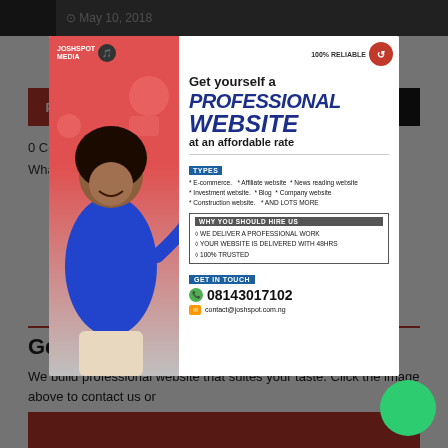May 10, 2018
0 Comments
Wha... approve
Get
[Figure (infographic): JoshSpot Media advertisement popup showing a woman in blue shirt pointing, with text: Get yourself a PROFESSIONAL WEBSITE at an affordable rate. Types: E-commerce, Affiliate website, News reading website, Investment website, Blog, Company website, Construction website, AND LOTS MORE. Why You Should Hire Us: We deliver a professional work, Your website is delivered with 48HRS, 100% Trusted. GET IN TOUCH: 08143017102, contact@joshspot.com.ng. 100% Reliable badge.]
We build professional website that suites your taste. Click the image above to contact us or